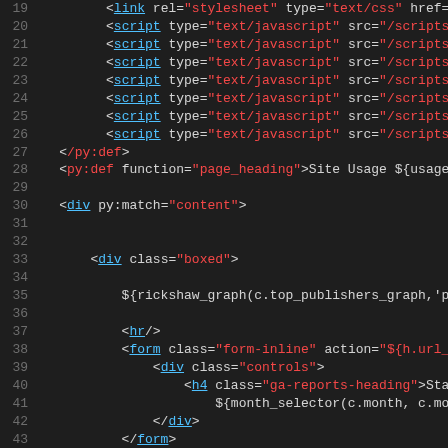[Figure (screenshot): Source code editor view showing HTML/Python template code lines 19-50, with syntax highlighting: line numbers in grey, HTML tags in teal/underlined, attribute values in red/orange strings, Python template expressions in green, plain text in white.]